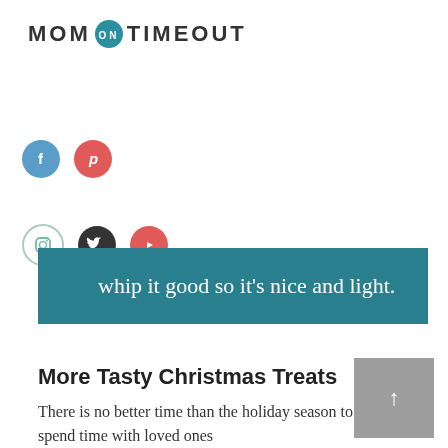MOM ON TIMEOUT
[Figure (illustration): Social media icon buttons: Facebook (teal circle), Pinterest (red circle), Instagram (light green outline circle), Twitter (dark circle), YouTube (red circle)]
whip it good so it's nice and light.
More Tasty Christmas Treats
There is no better time than the holiday season to spend time with loved ones
[Figure (other): Grey scroll-to-top button with upward arrow]